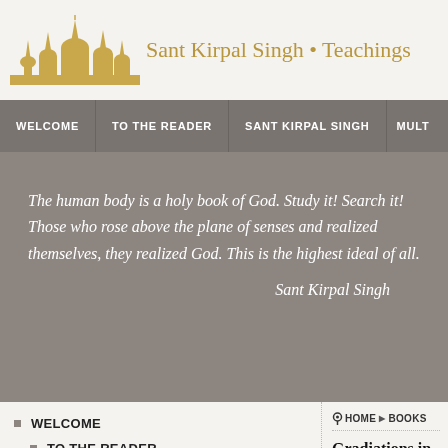Sant Kirpal Singh • Teachings
WELCOME   TO THE READER   SANT KIRPAL SINGH   MULT
The human body is a holy book of God. Study it! Search it! Those who rose above the plane of senses and realized themselves, they realized God. This is the highest ideal of all.

— Sant Kirpal Singh
WELCOME
TO THE READER
SANT KIRPAL SINGH
HOME ▶ BOOKS
Gradiations in